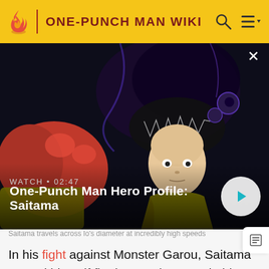ONE-PUNCH MAN WIKI
[Figure (screenshot): Anime screenshot showing Saitama in his hero suit with a large red fist extended toward camera and a dark monster behind him. Overlay shows WATCH • 02:47 and title One-Punch Man Hero Profile: Saitama with a play button.]
Saitama travels across Io's diameter at incredibly high speeds
In his fight against Monster Garou, Saitama proved himself firmly superior to and able to effortlessly keep up with him, despite the Hero Hunter previously being